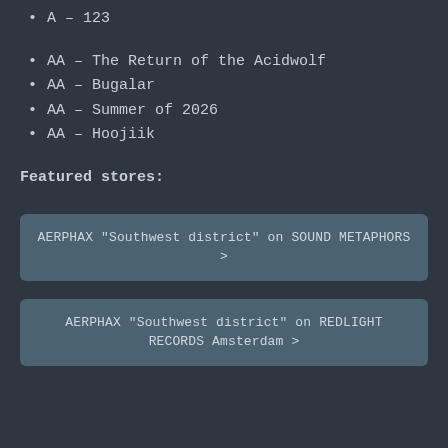A – 123
AA – The Return of the Acidwolf
AA – Bugalar
AA – Summer of 2026
AA – Hoojiik
Featured stores:
AERPHAX "Southwest district" on SOUND METAPHORS >
AERPHAX "Southwest district" on REDLIGHT RECORDS Amsterdam >